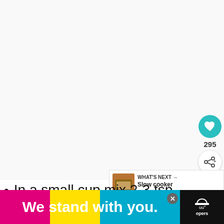[Figure (screenshot): White/light grey empty content area taking up most of the page, representing a recipe webpage]
[Figure (infographic): Teal circular heart/favourite button with count 295, and a white circular share button below it]
295
[Figure (infographic): WHAT'S NEXT promo box showing 'Slow cooker BBQ brisket ...' with a food thumbnail image]
In a small cup mix 2-3 tsp cornflour
[Figure (infographic): Advertisement banner: 'We stand with you.' on black, magenta, yellow and cyan background with a close button and cooking icon]